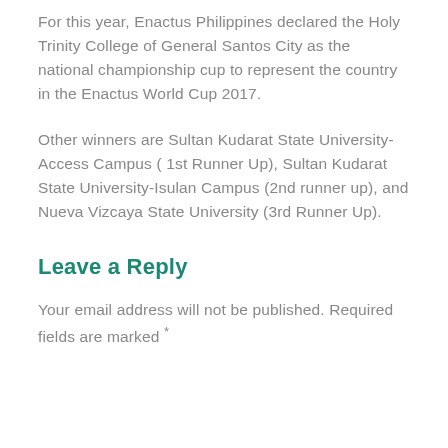For this year, Enactus Philippines declared the Holy Trinity College of General Santos City as the national championship cup to represent the country in the Enactus World Cup 2017.
Other winners are Sultan Kudarat State University-Access Campus ( 1st Runner Up), Sultan Kudarat State University-Isulan Campus (2nd runner up), and Nueva Vizcaya State University (3rd Runner Up).
Leave a Reply
Your email address will not be published. Required fields are marked *